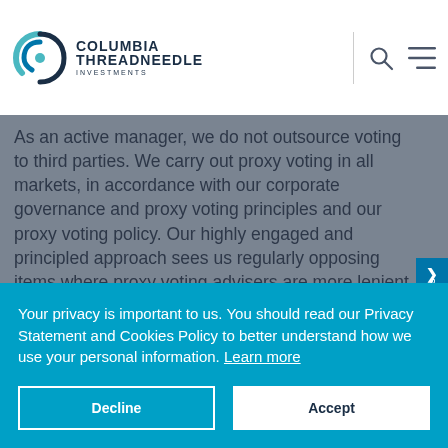[Figure (logo): Columbia Threadneedle Investments logo with teal/blue swirl icon, search icon and hamburger menu icon in header]
As an active manager, we do not outsource voting to third parties. We carry out proxy voting in all markets, in accordance with our corporate governance and proxy voting principles and our proxy voting policy. Our highly engaged and principled approach sees us regularly opposing items where proxy voting advisers are more lenient and supporting where they are more aggressive. We regularly withhold support from individual directors and cast dissenting votes based on pay-related concerns.
Your privacy is important to us. You should read our Privacy Statement and Cookies Policy to better understand how we use your personal information. Learn more